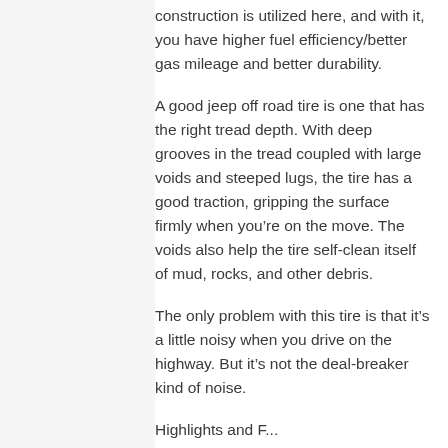construction is utilized here, and with it, you have higher fuel efficiency/better gas mileage and better durability.
A good jeep off road tire is one that has the right tread depth. With deep grooves in the tread coupled with large voids and steeped lugs, the tire has a good traction, gripping the surface firmly when you’re on the move. The voids also help the tire self-clean itself of mud, rocks, and other debris.
The only problem with this tire is that it’s a little noisy when you drive on the highway. But it’s not the deal-breaker kind of noise.
Highlights and F...